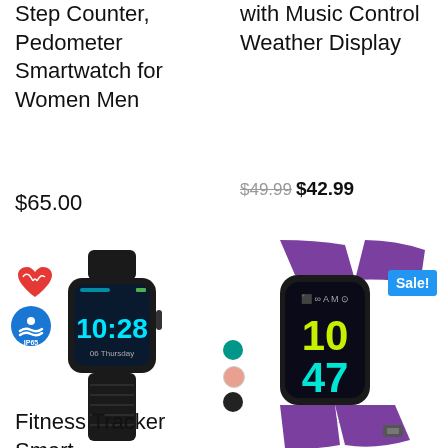Step Counter, Pedometer Smartwatch for Women Men
$65.00
with Music Control Weather Display
$49.99 $42.99
[Figure (photo): Black smartwatch showing 10:28, Thursday, with heart rate and IP65 icons, and color swatches (teal, pink, black)]
[Figure (photo): Purple fitness tracker band showing 10:47, MON 18590 12/25, with Sale! badge]
Fitness Tracker Smart